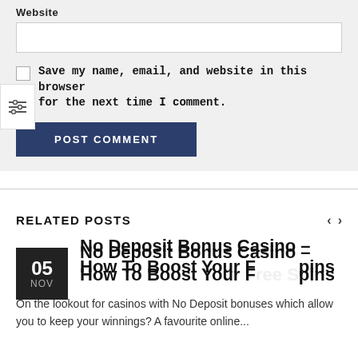Website
Save my name, email, and website in this browser for the next time I comment.
POST COMMENT
RELATED POSTS
No Deposit Bonus Casino – How To Boost Your Free Spins
On the lookout for casinos with No Deposit bonuses which allow you to keep your winnings? A favourite online...